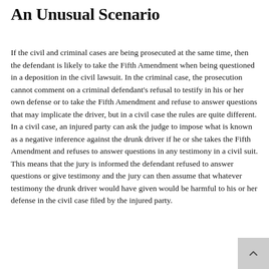An Unusual Scenario
If the civil and criminal cases are being prosecuted at the same time, then the defendant is likely to take the Fifth Amendment when being questioned in a deposition in the civil lawsuit. In the criminal case, the prosecution cannot comment on a criminal defendant's refusal to testify in his or her own defense or to take the Fifth Amendment and refuse to answer questions that may implicate the driver, but in a civil case the rules are quite different. In a civil case, an injured party can ask the judge to impose what is known as a negative inference against the drunk driver if he or she takes the Fifth Amendment and refuses to answer questions in any testimony in a civil suit. This means that the jury is informed the defendant refused to answer questions or give testimony and the jury can then assume that whatever testimony the drunk driver would have given would be harmful to his or her defense in the civil case filed by the injured party.